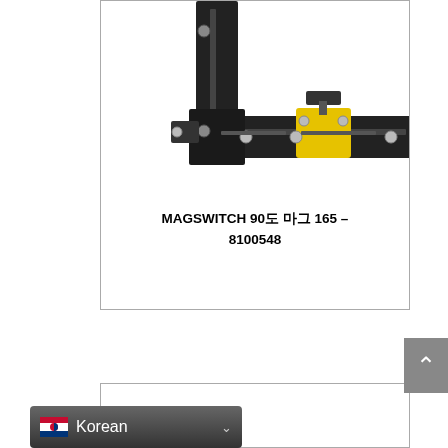[Figure (photo): Photo of a Magswitch 90-degree magnetic welding clamp/square tool, black metal frame with yellow magnetic switch component, shown against white background inside a product card border.]
MAGSWITCH 90도 마그 165 – 8100548
[Figure (screenshot): Partial view of a second product card at the bottom of the page, mostly empty white space.]
Korean